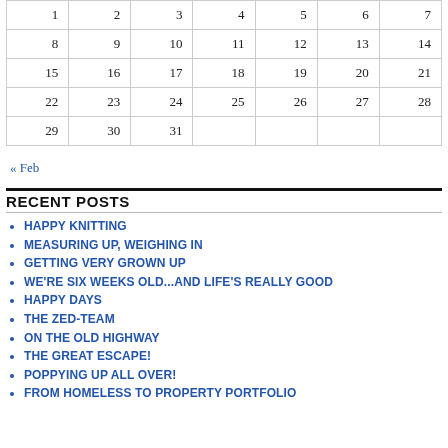| 1 | 2 | 3 | 4 | 5 | 6 | 7 |
| 8 | 9 | 10 | 11 | 12 | 13 | 14 |
| 15 | 16 | 17 | 18 | 19 | 20 | 21 |
| 22 | 23 | 24 | 25 | 26 | 27 | 28 |
| 29 | 30 | 31 |  |  |  |  |
« Feb
RECENT POSTS
HAPPY KNITTING
MEASURING UP, WEIGHING IN
GETTING VERY GROWN UP
WE'RE SIX WEEKS OLD...AND LIFE'S REALLY GOOD
HAPPY DAYS
THE ZED-TEAM
ON THE OLD HIGHWAY
THE GREAT ESCAPE!
POPPYING UP ALL OVER!
FROM HOMELESS TO PROPERTY PORTFOLIO